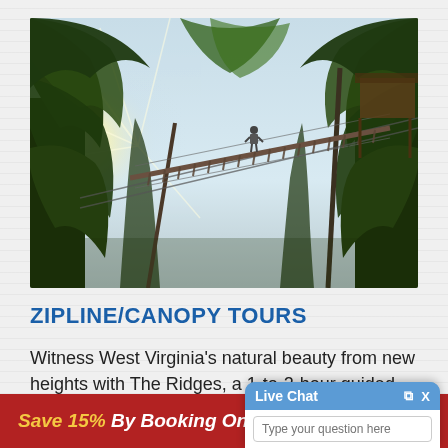[Figure (photo): Looking up through tall trees at a zipline/canopy walkway bridge suspended high above, with a person visible on the bridge. Bright sunlight flares through the tree canopy. Lush green foliage fills the frame.]
ZIPLINE/CANOPY TOURS
Witness West Virginia's natural beauty from new heights with The Ridges, a 1-to-2-hour guided zipline
Save 15% By Booking Online